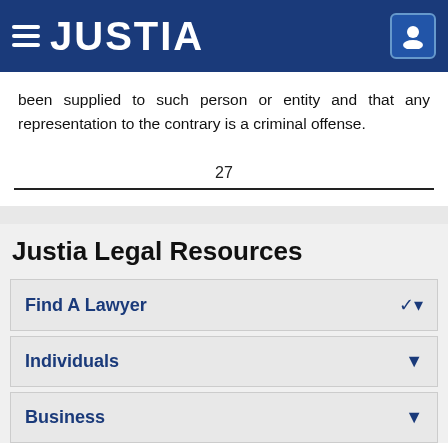JUSTIA
been supplied to such person or entity and that any representation to the contrary is a criminal offense.
27
Justia Legal Resources
Find A Lawyer
Individuals
Business